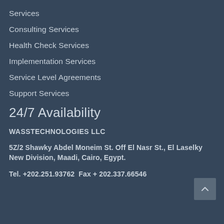Services
Consulting Services
Health Check Services
Implementation Services
Service Level Agreements
Support Services
24/7 Availability
WASSTECHNOLOGIES LLC
5Z/2 Shawky Abdel Moneim St. Off El Nasr St., El Laselky New Division, Maadi, Cairo, Egypt.
Tel. +202.251.93762  Fax + 202.337.66546